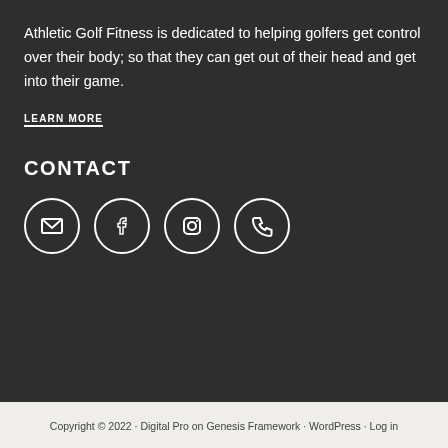Athletic Golf Fitness is dedicated to helping golfers get control over their body; so that they can get out of their head and get into their game.
LEARN MORE
CONTACT
[Figure (infographic): Four circular icon buttons for email, Facebook, Instagram, and phone contact]
Copyright © 2022 · Digital Pro on Genesis Framework · WordPress · Log in